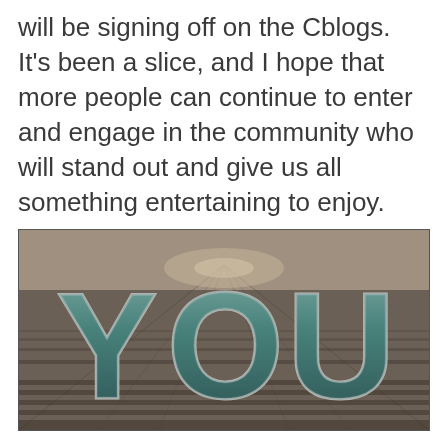will be signing off on the Cblogs. It's been a slice, and I hope that more people can continue to enter and engage in the community who will stand out and give us all something entertaining to enjoy.
[Figure (photo): Sepia-toned image of rows of people/soldiers stretching to the horizon, with large bold 3D metallic letters spelling 'YOU' overlaid in the center foreground.]
We need you. Destructoid is based entirely on its community. The recent changes being made on the site are positive in this regard; Enthusiast Gaming